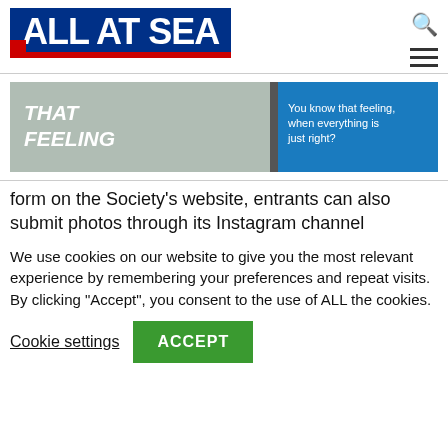[Figure (logo): ALL AT SEA logo with dark blue background, white bold text, red bar at bottom, and small flag icon]
[Figure (photo): Banner advertisement showing 'THAT FEELING' text on left with background photo of marina/yacht, blue box on right saying 'You know that feeling, when everything is just right?']
form on the Society's website, entrants can also submit photos through its Instagram channel
We use cookies on our website to give you the most relevant experience by remembering your preferences and repeat visits. By clicking “Accept”, you consent to the use of ALL the cookies.
Cookie settings
ACCEPT